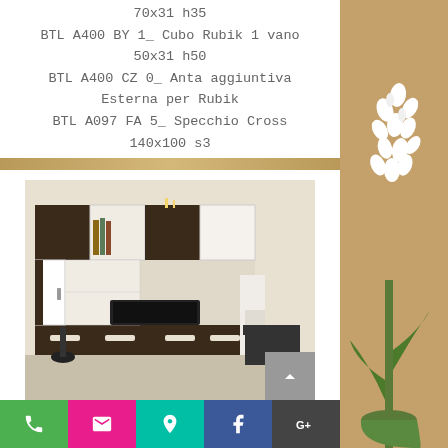70x31 h35
BTL A400 BY 1_ Cubo Rubik 1 vano 50x31 h50
BTL A400 CZ 0_ Anta aggiuntiva Esterna per Rubik
BTL A097 FA 5_ Specchio Cross 140x100 s3
[Figure (photo): Living room furniture wall unit with TV, bookshelves and a black armchair]
BTL A100 CZ 1_ Pensile Infinity PLUS
Phone | Email | Location | Facebook | Google+